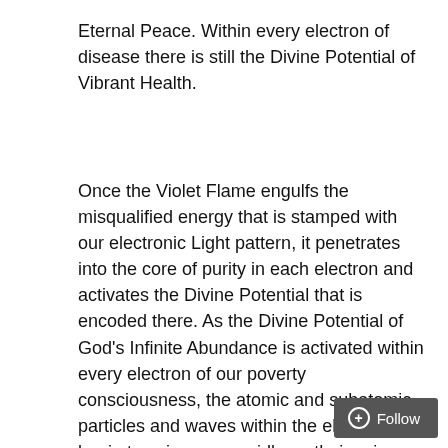Eternal Peace. Within every electron of disease there is still the Divine Potential of Vibrant Health.
Once the Violet Flame engulfs the misqualified energy that is stamped with our electronic Light pattern, it penetrates into the core of purity in each electron and activates the Divine Potential that is encoded there. As the Divine Potential of God's Infinite Abundance is activated within every electron of our poverty consciousness, the atomic and subatomic particles and waves within the electrons begin to spin more rapidly on their axis. The centrifugal force of this acceleration casts the dark frequencies of poverty, lack, and limitation into the Violet Flame. The Violet Fire instantly consumes the frequencies of poverty and transmutes them back into the frequency of God's Infinite Abundance.